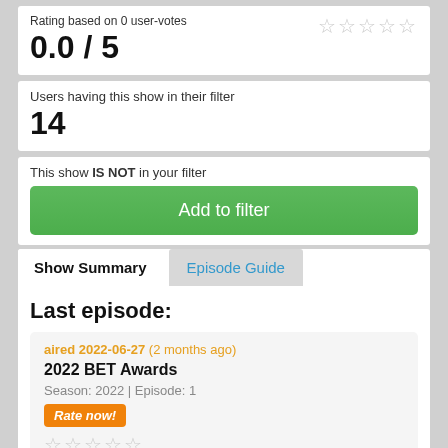Rating based on 0 user-votes
0.0 / 5
Users having this show in their filter
14
This show IS NOT in your filter
Add to filter
Show Summary
Episode Guide
Last episode:
aired 2022-06-27 (2 months ago)
2022 BET Awards
Season: 2022 | Episode: 1
Rate now!
» episode summary
» full episode guide